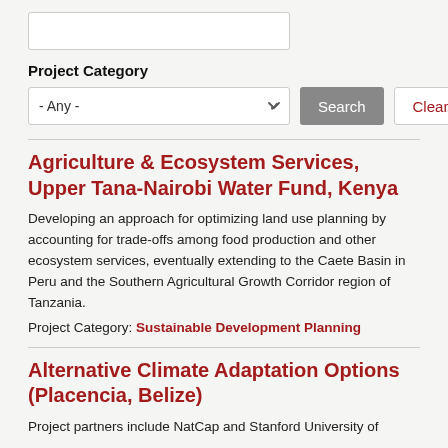[Figure (screenshot): Search input text box (empty)]
Project Category
[Figure (screenshot): Dropdown selector '- Any -' with Search and Clear buttons]
Agriculture & Ecosystem Services, Upper Tana-Nairobi Water Fund, Kenya
Developing an approach for optimizing land use planning by accounting for trade-offs among food production and other ecosystem services, eventually extending to the Caete Basin in Peru and the Southern Agricultural Growth Corridor region of Tanzania.
Project Category: Sustainable Development Planning
Alternative Climate Adaptation Options (Placencia, Belize)
Project partners include NatCap and Stanford University of...